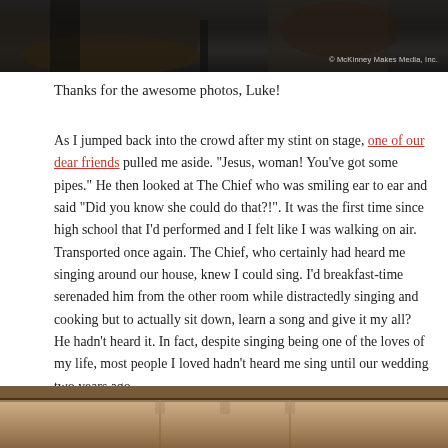[Figure (photo): Dark photograph showing hands playing guitar on stage, with watermark '© McKinney Makes Media, Inc.' in bottom right corner]
Thanks for the awesome photos, Luke!
As I jumped back into the crowd after my stint on stage, one of our dear friends pulled me aside. “Jesus, woman! You’ve got some pipes.” He then looked at The Chief who was smiling ear to ear and said “Did you know she could do that?!”. It was the first time since high school that I’d performed and I felt like I was walking on air. Transported once again. The Chief, who certainly had heard me singing around our house, knew I could sing. I’d breakfast-time serenaded him from the other room while distractedly singing and cooking but to actually sit down, learn a song and give it my all? He hadn’t heard it. In fact, despite singing being one of the loves of my life, most people I loved hadn’t heard me sing until our wedding two years ago.
[Figure (photo): Partial photograph showing a tan/beige tent or canopy structure outdoors]